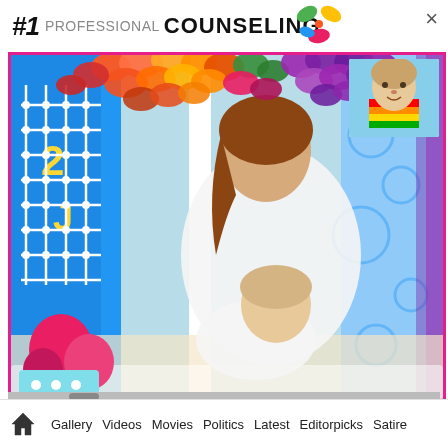[Figure (screenshot): Screenshot of a webpage showing a colorful advertisement/article about professional counseling. The top banner shows '#1 COUNSELING' text in bold black letters with colorful flower/balloon decorations and a close (×) button. The main image shows a smiling woman and young child lying on the floor in a colorful playroom setting, with a smaller inset photo of a child in the top right. The bottom of the screen shows a navigation bar with icons: home, Gallery, Videos, Movies, Politics, Latest, Editorpicks, Satire.]